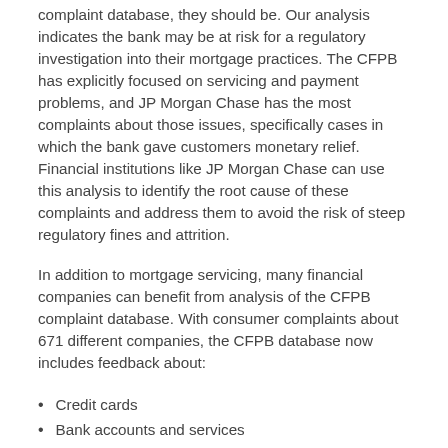complaint database, they should be. Our analysis indicates the bank may be at risk for a regulatory investigation into their mortgage practices. The CFPB has explicitly focused on servicing and payment problems, and JP Morgan Chase has the most complaints about those issues, specifically cases in which the bank gave customers monetary relief. Financial institutions like JP Morgan Chase can use this analysis to identify the root cause of these complaints and address them to avoid the risk of steep regulatory fines and attrition.
In addition to mortgage servicing, many financial companies can benefit from analysis of the CFPB complaint database. With consumer complaints about 671 different companies, the CFPB database now includes feedback about:
Credit cards
Bank accounts and services
Credit reporting
Consumer loans
Student loans